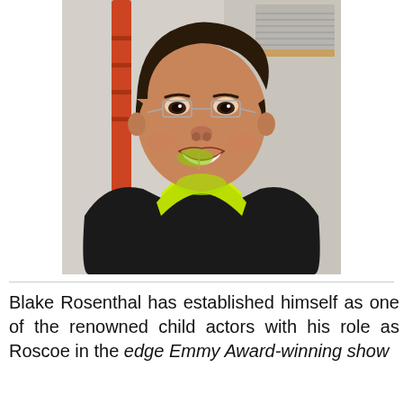[Figure (photo): A smiling boy wearing rimless glasses, a bright yellow-green shirt, and a black apron, photographed indoors against a light-colored wall with a ladder visible in the background.]
Blake Rosenthal has established himself as one of the renowned child actors with his role as Roscoe in the edge Emmy Award-winning show